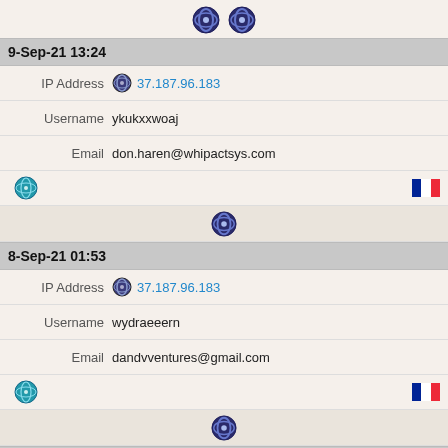[Figure (illustration): Two Tor browser onion icons side by side]
9-Sep-21 13:24
IP Address  37.187.96.183
Username  ykukxxwoaj
Email  don.haren@whipactsys.com
[Figure (illustration): Globe icon on left, French flag on right]
[Figure (illustration): Single Tor browser onion icon]
8-Sep-21 01:53
IP Address  37.187.96.183
Username  wydraeeern
Email  dandvventures@gmail.com
[Figure (illustration): Globe icon on left, French flag on right]
[Figure (illustration): Single Tor browser onion icon]
7-Sep-21 15:44
IP Address  37.187.96.183
Username  niuftifbcf
Email  danjamesshields@gmail.com